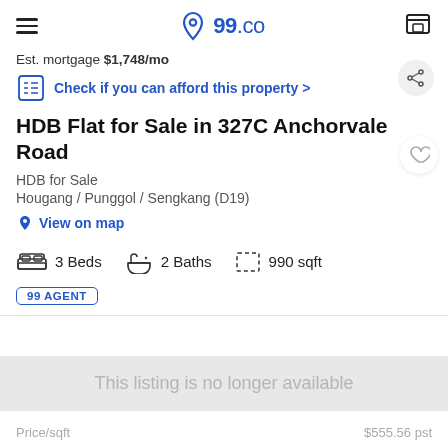99.co
Est. mortgage $1,748/mo
Check if you can afford this property >
HDB Flat for Sale in 327C Anchorvale Road
HDB for Sale
Hougang / Punggol / Sengkang (D19)
View on map
3 Beds   2 Baths   990 sqft
99 AGENT
This listing is no longer available
Price/sqft   $555.56 pst